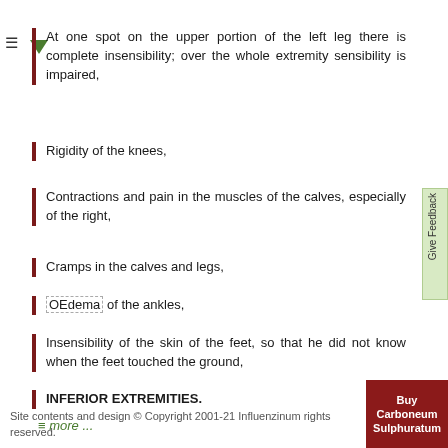At one spot on the upper portion of the left leg there is complete insensibility; over the whole extremity sensibility is impaired,
Rigidity of the knees,
Contractions and pain in the muscles of the calves, especially of the right,
Cramps in the calves and legs,
OEdema of the ankles,
Insensibility of the skin of the feet, so that he did not know when the feet touched the ground,
INFERIOR EXTREMITIES.
≡ more ...
Site contents and design © Copyright 2001-21 Influenzinum rights reserved.